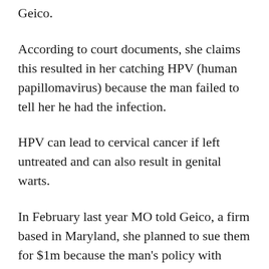Geico.
According to court documents, she claims this resulted in her catching HPV (human papillomavirus) because the man failed to tell her he had the infection.
HPV can lead to cervical cancer if left untreated and can also result in genital warts.
In February last year MO told Geico, a firm based in Maryland, she planned to sue them for $1m because the man’s policy with them should have covered for her “injuries and losses”.
Geico refused to pay out for the settlement,